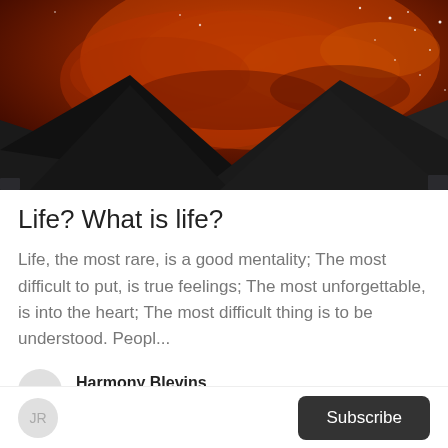[Figure (photo): Night sky with orange-red clouds and stars, with dark rooftop peaks visible at the bottom of the frame]
Life? What is life?
Life, the most rare, is a good mentality; The most difficult to put, is true feelings; The most unforgettable, is into the heart; The most difficult thing is to be understood. Peopl...
Harmony Blevins
a day ago in Humans